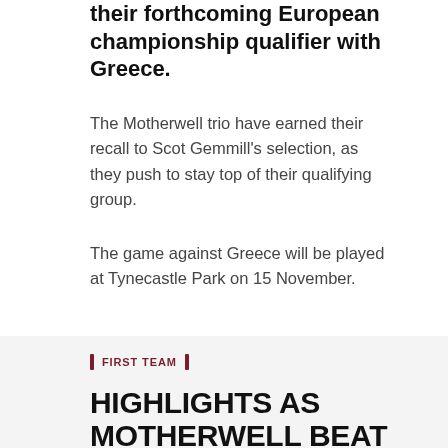their forthcoming European championship qualifier with Greece.
The Motherwell trio have earned their recall to Scot Gemmill's selection, as they push to stay top of their qualifying group.
The game against Greece will be played at Tynecastle Park on 15 November.
FIRST TEAM
HIGHLIGHTS AS MOTHERWELL BEAT KILMARNOCK
Wednesday 30 October 2019